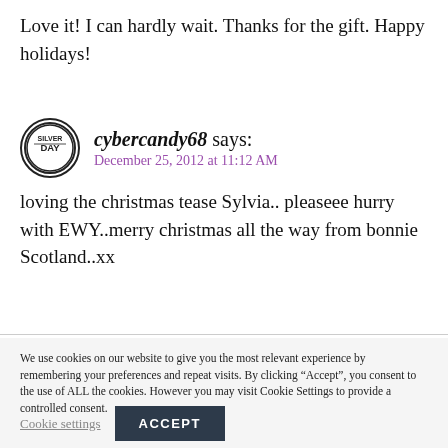Love it! I can hardly wait. Thanks for the gift. Happy holidays!
cybercandy68 says:
December 25, 2012 at 11:12 AM
loving the christmas tease Sylvia.. pleaseee hurry with EWY..merry christmas all the way from bonnie Scotland..xx
We use cookies on our website to give you the most relevant experience by remembering your preferences and repeat visits. By clicking “Accept”, you consent to the use of ALL the cookies. However you may visit Cookie Settings to provide a controlled consent.
Cookie settings
ACCEPT